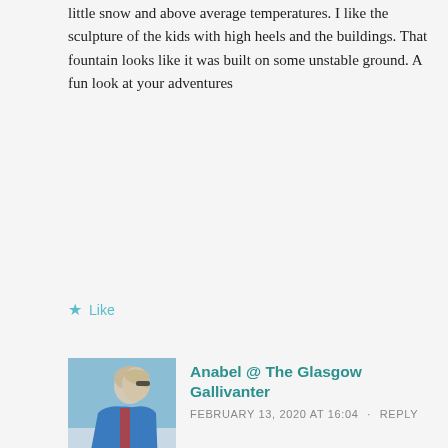little snow and above average temperatures. I like the sculpture of the kids with high heels and the buildings. That fountain looks like it was built on some unstable ground. A fun look at your adventures
★ Like
[Figure (photo): Profile photo of Anabel @ The Glasgow Gallivanter — person in blue jacket viewed from the side outdoors]
Anabel @ The Glasgow Gallivanter
FEBRUARY 13, 2020 AT 16:04 · REPLY
Thanks Birgit! We had a fun January.
★ Like
[Figure (photo): Profile photo of Erica/Erika — woman with blonde hair smiling outdoors]
Erica/Erika
FEBRUARY 12, 2020 AT 18:41 · REPLY